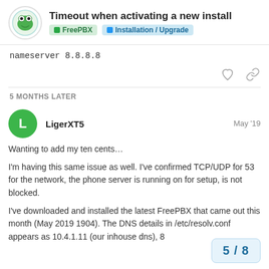Timeout when activating a new install | FreePBX | Installation / Upgrade
nameserver 8.8.8.8
5 MONTHS LATER
LigerXT5  May '19
Wanting to add my ten cents…
I'm having this same issue as well. I've confirmed TCP/UDP for 53 for the network, the phone server is running on for setup, is not blocked.
I've downloaded and installed the latest FreePBX that came out this month (May 2019 1904). The DNS details in /etc/resolv.conf appears as 10.4.1.11 (our inhouse dns), 8
5 / 8